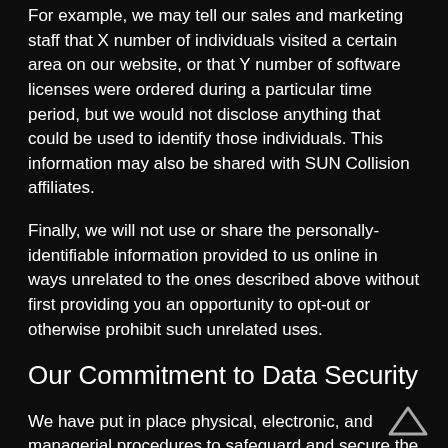For example, we may tell our sales and marketing staff that X number of individuals visited a certain area on our website, or that Y number of software licenses were ordered during a particular time period, but we would not disclose anything that could be used to identify those individuals. This information may also be shared with SUN Collision affiliates.
Finally, we will not use or share the personally-identifiable information provided to us online in ways unrelated to the ones described above without first providing you an opportunity to opt-out or otherwise prohibit such unrelated uses.
Our Commitment to Data Security
We have put in place physical, electronic, and managerial procedures to safeguard and secure the information we collect online. When you place orders or access your account information, we offer the use of a secure...